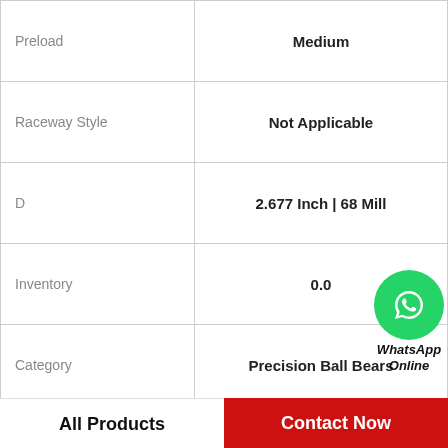| Property | Value |
| --- | --- |
| Preload | Medium |
| Raceway Style | Not Applicable |
| D | 2.677 Inch | 68 Mill |
| Inventory | 0.0 |
| Category | Precision Ball Bears |
| d | 0.787 Inch | 20 Mill |
| B | 1.102 Inch | 28 Mill |
| Manufacturer Item Number | MMF520BS68PP DM |
[Figure (logo): WhatsApp green circle icon with phone handset, labeled WhatsApp Online]
All Products    Contact Now